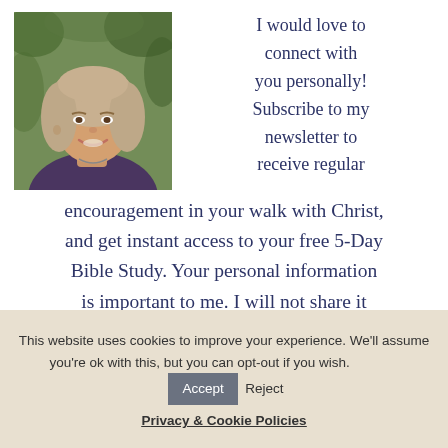[Figure (photo): Portrait photo of a woman with blonde/gray wavy hair, smiling, wearing a patterned jacket, with green foliage background.]
I would love to connect with you personally! Subscribe to my newsletter to receive regular encouragement in your walk with Christ, and get instant access to your free 5-Day Bible Study. Your personal information is important to me. I will not share it
This website uses cookies to improve your experience. We'll assume you're ok with this, but you can opt-out if you wish.
Accept
Reject
Privacy & Cookie Policies